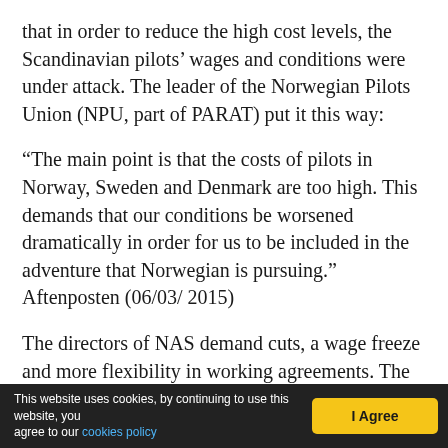that in order to reduce the high cost levels, the Scandinavian pilots' wages and conditions were under attack. The leader of the Norwegian Pilots Union (NPU, part of PARAT) put it this way:
“The main point is that the costs of pilots in Norway, Sweden and Denmark are too high. This demands that our conditions be worsened dramatically in order for us to be included in the adventure that Norwegian is pursuing.” Aftenposten (06/03/ 2015)
The directors of NAS demand cuts, a wage freeze and more flexibility in working agreements. The pilots oppose this. Norwegian is attempting to
This website uses cookies, by continuing to use this website, you agree to our cookies policy    I Agree